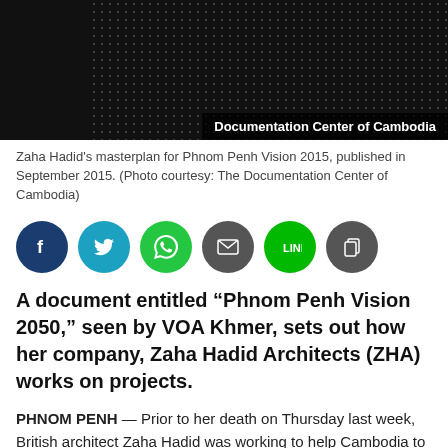[Figure (photo): Dark banner image with dot pattern and 'Documentation Center of Cambodia' label, with rotated 'itects' text on the left side.]
Zaha Hadid's masterplan for Phnom Penh Vision 2015, published in September 2015. (Photo courtesy: The Documentation Center of Cambodia)
[Figure (infographic): Row of social media share buttons: Facebook (dark blue), Twitter (cyan), WhatsApp (green), Email (dark gray), Line (green), Copy (dark gray)]
A document entitled “Phnom Penh Vision 2050,” seen by VOA Khmer, sets out how her company, Zaha Hadid Architects (ZHA) works on projects.
PHNOM PENH — Prior to her death on Thursday last week, British architect Zaha Hadid was working to help Cambodia to rebuild after the tragedies of its history.